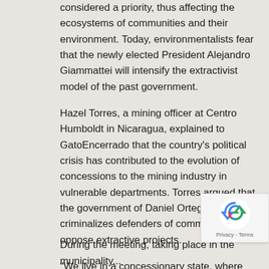considered a priority, thus affecting the ecosystems of communities and their environment. Today, environmentalists fear that the newly elected President Alejandro Giammattei will intensify the extractivist model of the past government.
Hazel Torres, a mining officer at Centro Humboldt in Nicaragua, explained to GatoEncerrado that the country's political crisis has contributed to the evolution of concessions to the mining industry in vulnerable departments. Torres argued that the government of Daniel Ortega criminalizes defenders of communities that oppose extractive projects.
"We live in a concessionary state, where the government promotes mining with the objective of economic promotion of the territories. However, this goes hand in hand with the criminalization and violation of human rights of the inhabitants," Torres concluded.
During the meeting, taking place in the municipality...
[Figure (logo): reCAPTCHA badge with blue arrow/recycle icon and Privacy - Terms text]